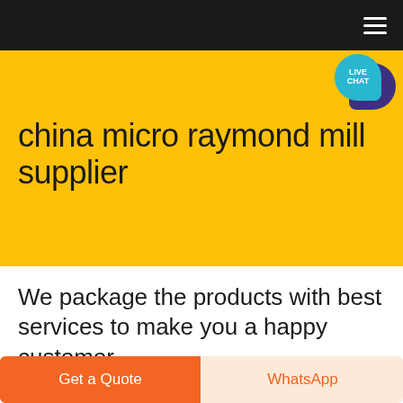Navigation bar with hamburger menu icon
china micro raymond mill supplier
[Figure (illustration): Live chat speech bubble icon with teal foreground bubble labeled LIVE CHAT and dark purple background bubble]
We package the products with best services to make you a happy customer.
Get a Quote
WhatsApp